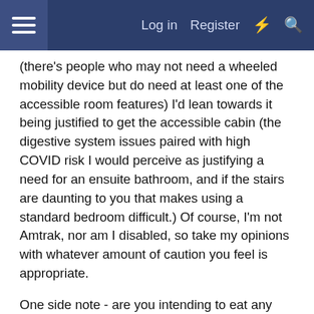Log in | Register
(there's people who may not need a wheeled mobility device but do need at least one of the accessible room features) I'd lean towards it being justified to get the accessible cabin (the digestive system issues paired with high COVID risk I would perceive as justifying a need for an ensuite bathroom, and if the stairs are daunting to you that makes using a standard bedroom difficult.) Of course, I'm not Amtrak, nor am I disabled, so take my opinions with whatever amount of caution you feel is appropriate.
One side note - are you intending to eat any meals in the dining car or visit the observation car at all? If so, it might be better to do the standard bedroom if you can afford it, since the standard access to those areas is on the upper level (so you'd need to navigate stairs to get to them regardless.) If you're planning on having meals brought to your room and don't intend to visit the observation car, then I'd recommend staying downstairs; there's more bathroom availability in the public areas, and it's much less